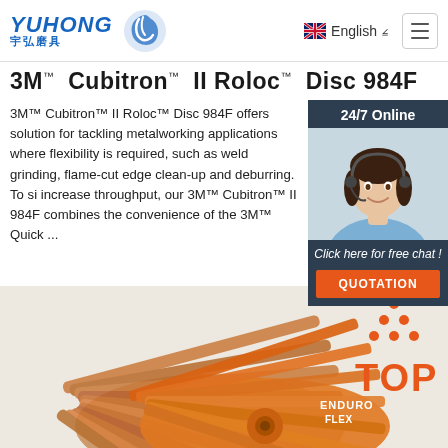YUHONG 宇弘磨具 | English
3M™ Cubitron™ II Roloc™ Disc 984F
3M™ Cubitron™ II Roloc™ Disc 984F offers solution for tackling metalworking applications where flexibility is required, such as weld grinding, flame-cut edge clean-up and deburring. To si increase throughput, our 3M™ Cubitron™ II 984F combines the convenience of the 3M™ Quick ...
[Figure (photo): Customer service agent (woman with headset smiling) in a 24/7 Online chat panel with 'Click here for free chat!' label and QUOTATION button]
Get Price
[Figure (photo): Orange flap discs (Enduro Flex brand) shown fanned out, with a TOP badge in the bottom right corner]